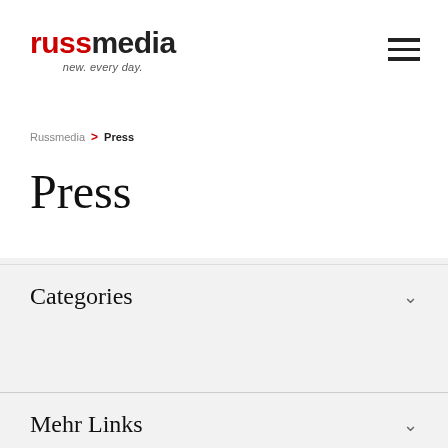[Figure (logo): Russmedia logo with red 'russ' and dark 'media' text, tagline 'new. every day.' in italic below]
Russmedia > Press
Press
Categories
Mehr Links